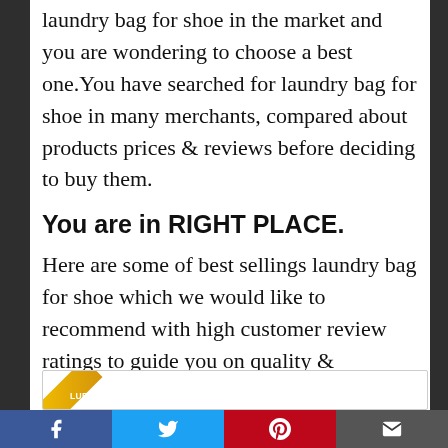laundry bag for shoe in the market and you are wondering to choose a best one.You have searched for laundry bag for shoe in many merchants, compared about products prices & reviews before deciding to buy them.
You are in RIGHT PLACE.
Here are some of best sellings laundry bag for shoe which we would like to recommend with high customer review ratings to guide you on quality & popularity of each items.
759 reviews analysed
[Figure (other): Partial product card with a yellow/gold diagonal banner badge showing 'LUE' text]
Facebook  Twitter  Pinterest  Email social share bar